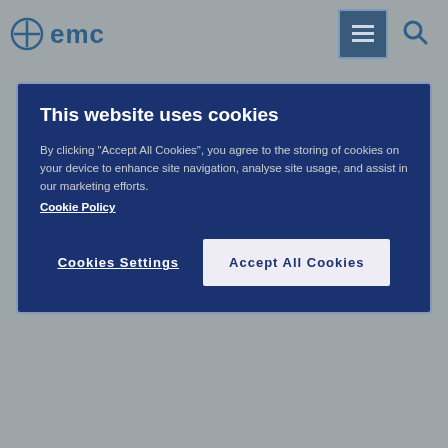[Figure (logo): EMC logo with crosshair/plus icon and 'emc' text in blue]
[Figure (screenshot): Cookie consent modal dialog with dark blue background. Title: 'This website uses cookies'. Body text about accepting cookies. Two buttons: 'Cookies Settings' and 'Accept All Cookies'.]
medicalinformationuk@organon.com
Contact us
Links
Accessibility
Legal and privacy policy
Cookies Settings
Glossary
Site Map